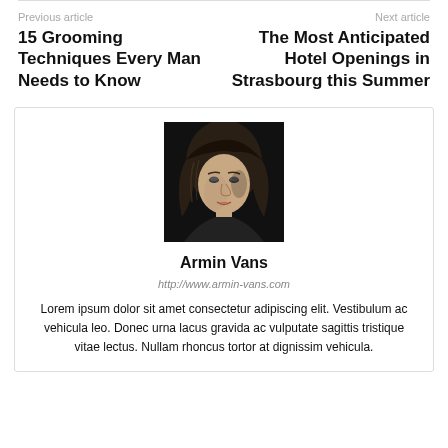Previous article
15 Grooming Techniques Every Man Needs to Know
Next article
The Most Anticipated Hotel Openings in Strasbourg this Summer
[Figure (photo): Black and white portrait photo of a woman with long hair]
Armin Vans
http://www.armin-vans.com
Lorem ipsum dolor sit amet consectetur adipiscing elit. Vestibulum ac vehicula leo. Donec urna lacus gravida ac vulputate sagittis tristique vitae lectus. Nullam rhoncus tortor at dignissim vehicula.